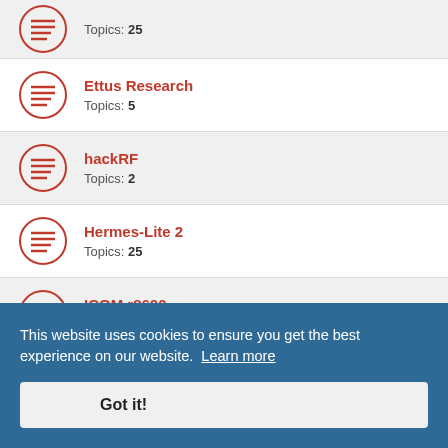Topics: 25
Ettus Research
Topics: 5
hackRF
Topics: 2
Hermes-Lite 2
Topics: 25
ICOM r8600
Topics: 2
Lime Microsystems
Topics: 8
Perseus
Topics: 2
Pluto
Also known as ADALM-PLUTO.
This website uses cookies to ensure you get the best experience on our website. Learn more
Got it!